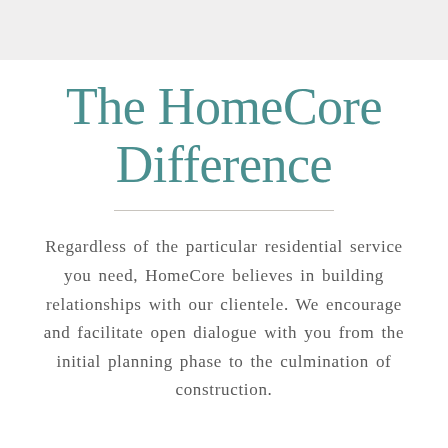The HomeCore Difference
Regardless of the particular residential service you need, HomeCore believes in building relationships with our clientele. We encourage and facilitate open dialogue with you from the initial planning phase to the culmination of construction.